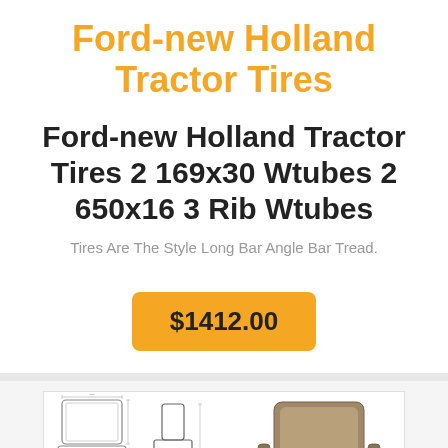Ford-new Holland Tractor Tires
Ford-new Holland Tractor Tires 2 169x30 Wtubes 2 650x16 3 Rib Wtubes
Tires Are The Style Long Bar Angle Bar Tread.
$1412.00
[Figure (illustration): Product diagram showing tractor seat components with engineering-style drawings on the left and a photo of an assembled seat on the right. Caption reads: Applications: Wide & Large HP Tractors, Commercial Harvesters, Sprayers]